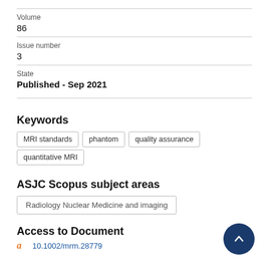Volume
86
Issue number
3
State
Published - Sep 2021
Keywords
MRI standards
phantom
quality assurance
quantitative MRI
ASJC Scopus subject areas
Radiology Nuclear Medicine and imaging
Access to Document
10.1002/mrm.28779